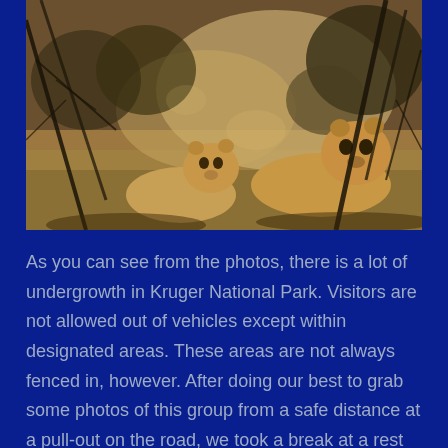[Figure (photo): Two lions resting in the shade of undergrowth in Kruger National Park, South Africa. The photo is taken through branches and sparse vegetation, showing a dappled light environment with dry earth and scrubby bushes in the background.]
As you can see from the photos, there is a lot of undergrowth in Kruger National Park. Visitors are not allowed out of vehicles except within designated areas. These areas are not always fenced in, however. After doing our best to grab some photos of this group from a safe distance at a pull-out on the road, we took a break at a rest area just down the road, and as we were sitting and eating lunch, realized there really was nothing but